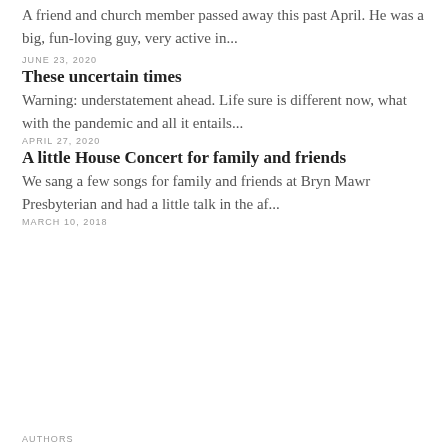A friend and church member passed away this past April. He was a big, fun-loving guy, very active in...
JUNE 23, 2020
These uncertain times
Warning: understatement ahead. Life sure is different now, what with the pandemic and all it entails...
APRIL 27, 2020
A little House Concert for family and friends
We sang a few songs for family and friends at Bryn Mawr Presbyterian and had a little talk in the af...
MARCH 10, 2018
AUTHORS